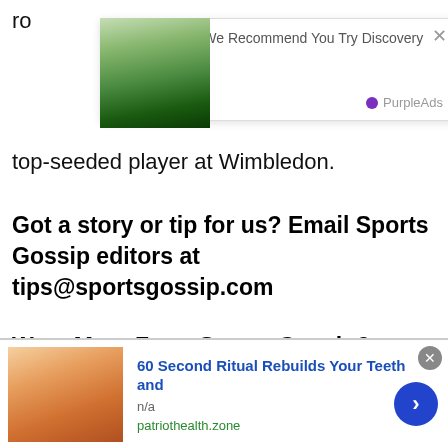ro
[Figure (photo): Mountain landscape thumbnail partially obscured by advertisement overlay]
[Figure (other): Advertisement overlay: Just For You - We Recommend You Try Discovery Feed [content] by Discoveryfeed. PurpleAds branding.]
top-seeded player at Wimbledon.
Got a story or tip for us? Email Sports Gossip editors at tips@sportsgossip.com
Want More From Sports Gossip?
For all the latest breaking Sports Gossip, be sure to
[Figure (other): Bottom advertisement banner: 60 Second Ritual Rebuilds Your Teeth and - n/a - patriothealth.zone. Photo of smiling man. Blue arrow button.]